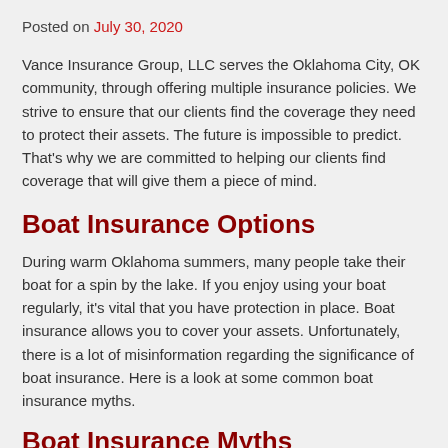Posted on July 30, 2020
Vance Insurance Group, LLC serves the Oklahoma City, OK community, through offering multiple insurance policies. We strive to ensure that our clients find the coverage they need to protect their assets. The future is impossible to predict. That's why we are committed to helping our clients find coverage that will give them a piece of mind.
Boat Insurance Options
During warm Oklahoma summers, many people take their boat for a spin by the lake. If you enjoy using your boat regularly, it's vital that you have protection in place. Boat insurance allows you to cover your assets. Unfortunately, there is a lot of misinformation regarding the significance of boat insurance. Here is a look at some common boat insurance myths.
Boat Insurance Myths